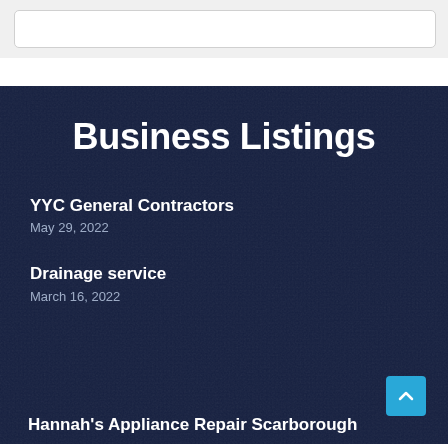Business Listings
YYC General Contractors
May 29, 2022
Drainage service
March 16, 2022
Hannah's Appliance Repair Scarborough